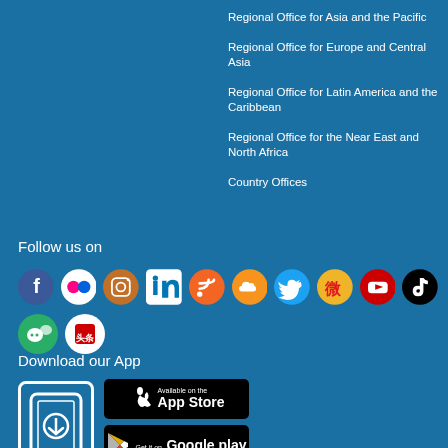Regional Office for Asia and the Pacific
Regional Office for Europe and Central Asia
Regional Office for Latin America and the Caribbean
Regional Office for the Near East and North Africa
Country Offices
Follow us on
[Figure (infographic): Row of social media icons: Facebook, Flickr, Instagram, LinkedIn, RSS, SoundCloud, Twitter, Weibo, YouTube, TikTok, WeChat, Toutiao]
Download our App
[Figure (infographic): Phone icon with download arrow, App Store button and Google Play button]